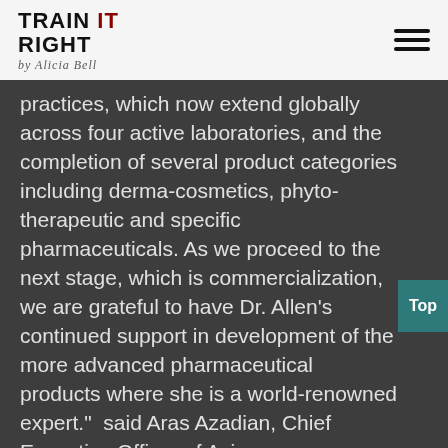Train It Right by Alicia Bell
practices, which now extend globally across four active laboratories, and the completion of several product categories including derma-cosmetics, phyto-therapeutic and specific pharmaceuticals. As we proceed to the next stage, which is commercialization, we are grateful to have Dr. Allen's continued support in development of the more advanced pharmaceutical products where she is a world-renowned expert." said Aras Azadian, Chief Executive Officer of Avicanna.
Dr. Allen commented, "My laboratory is delighted to continue to work with Avicanna and remains committed to the evidence-based development of